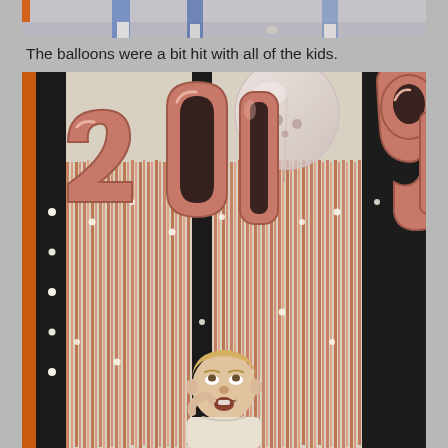[Figure (photo): Top portion of a photo showing people's legs/feet on a floor, partially cropped.]
The balloons were a bit hit with all of the kids.
[Figure (photo): Photo of a New Year 2019 party decoration setup with rose gold metallic fringe curtain backdrop, large rose gold number balloon letters spelling '2019', a clear round balloon with dots on top, string lights, and a young blonde child standing at the bottom looking up at the balloons in amazement.]